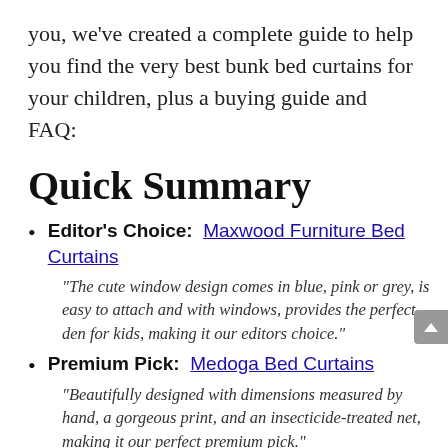you, we've created a complete guide to help you find the very best bunk bed curtains for your children, plus a buying guide and FAQ:
Quick Summary
Editor's Choice:  Maxwood Furniture Bed Curtains
"The cute window design comes in blue, pink or grey, is easy to attach and with windows, provides the perfect den for kids, making it our editors choice."
Premium Pick:  Medoga Bed Curtains
"Beautifully designed with dimensions measured by hand, a gorgeous print, and an insecticide-treated net, making it our perfect premium pick."